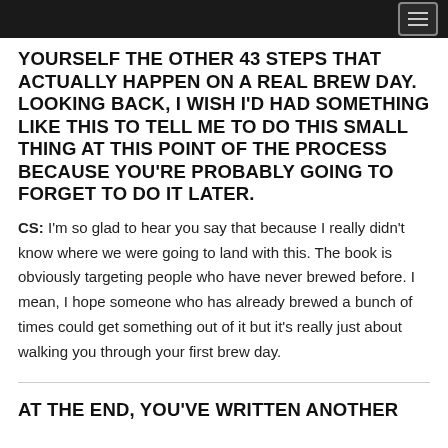YOURSELF THE OTHER 43 STEPS THAT ACTUALLY HAPPEN ON A REAL BREW DAY. LOOKING BACK, I WISH I'D HAD SOMETHING LIKE THIS TO TELL ME TO DO THIS SMALL THING AT THIS POINT OF THE PROCESS BECAUSE YOU'RE PROBABLY GOING TO FORGET TO DO IT LATER.
CS: I'm so glad to hear you say that because I really didn't know where we were going to land with this. The book is obviously targeting people who have never brewed before. I mean, I hope someone who has already brewed a bunch of times could get something out of it but it's really just about walking you through your first brew day.
AT THE END, YOU'VE WRITTEN ANOTHER